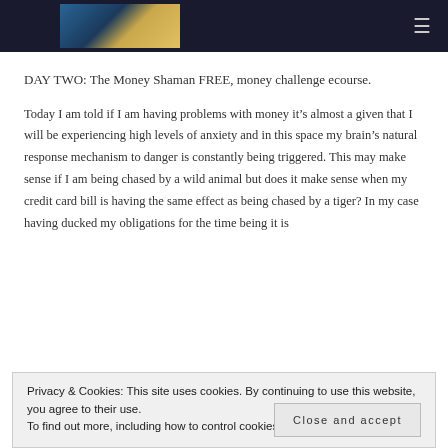[Figure (logo): Website header bar with logo image and hamburger menu icon on dark navy background]
DAY TWO: The Money Shaman FREE, money challenge ecourse.
Today I am told if I am having problems with money it’s almost a given that I will be experiencing high levels of anxiety and in this space my brain’s natural response mechanism to danger is constantly being triggered. This may make sense if I am being chased by a wild animal but does it make sense when my credit card bill is having the same effect as being chased by a tiger? In my case having ducked my obligations for the time being it is
Privacy & Cookies: This site uses cookies. By continuing to use this website, you agree to their use.
To find out more, including how to control cookies, see here: Cookie Policy
Close and accept